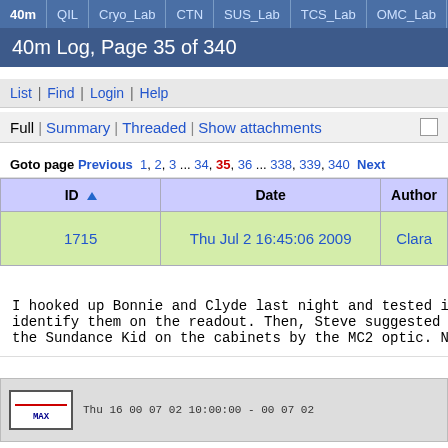40m | QIL | Cryo_Lab | CTN | SUS_Lab | TCS_Lab | OMC_Lab | CRI...
40m Log, Page 35 of 340
List | Find | Login | Help
Full | Summary | Threaded | Show attachments
Goto page Previous 1, 2, 3 ... 34, 35, 36 ... 338, 339, 340 Next
| ID ▲ | Date | Author |
| --- | --- | --- |
| 1715 | Thu Jul 2 16:45:06 2009 | Clara |
I hooked up Bonnie and Clyde last night and tested it t
identify them on the readout. Then, Steve suggested I t
the Sundance Kid on the cabinets by the MC2 optic. Now
[Figure (screenshot): Partial screenshot of a data plot with a red line legend labeled MAX and column headers partially visible]